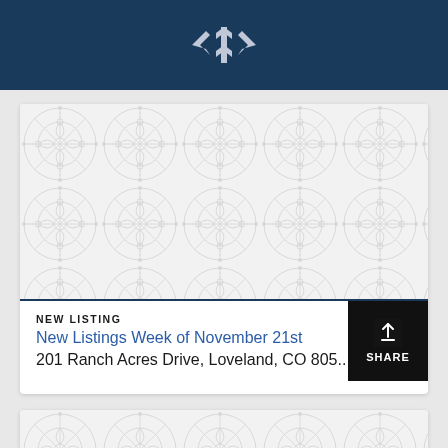Kentwood Real Estate logo
[Figure (illustration): Decorative tile/medallion pattern background for listing card image placeholder]
NEW LISTING
New Listings Week of November 21st
201 Ranch Acres Drive, Loveland, CO 805...
[Figure (illustration): SHARE button overlay with honeycomb/hexagon texture background and upload arrow icon]
[Figure (illustration): Partial second listing card with decorative tile pattern background]